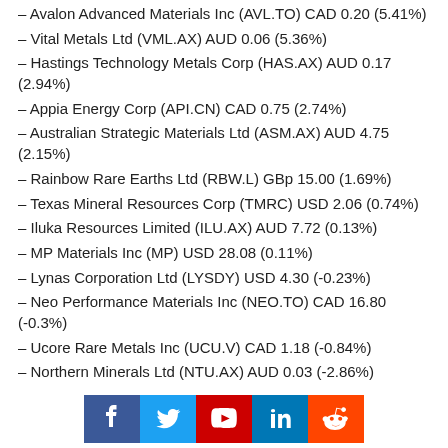– Avalon Advanced Materials Inc (AVL.TO) CAD 0.20 (5.41%)
– Vital Metals Ltd (VML.AX) AUD 0.06 (5.36%)
– Hastings Technology Metals Corp (HAS.AX) AUD 0.17 (2.94%)
– Appia Energy Corp (API.CN) CAD 0.75 (2.74%)
– Australian Strategic Materials Ltd (ASM.AX) AUD 4.75 (2.15%)
– Rainbow Rare Earths Ltd (RBW.L) GBp 15.00 (1.69%)
– Texas Mineral Resources Corp (TMRC) USD 2.06 (0.74%)
– Iluka Resources Limited (ILU.AX) AUD 7.72 (0.13%)
– MP Materials Inc (MP) USD 28.08 (0.11%)
– Lynas Corporation Ltd (LYSDY) USD 4.30 (-0.23%)
– Neo Performance Materials Inc (NEO.TO) CAD 16.80 (-0.3%)
– Ucore Rare Metals Inc (UCU.V) CAD 1.18 (-0.84%)
– Northern Minerals Ltd (NTU.AX) AUD 0.03 (-2.86%)
– Rare Elements Resources Ltd (REEMF) USD 2.10 (-3.23%)
– Search Minerals Inc (SMY.V) CAD 0.14 (-3.33%)
– Medallion Resources Ltd (MDL.V) CAD 0.28 (-3.39%)
Social media links: Facebook, Twitter, YouTube, LinkedIn, Reddit